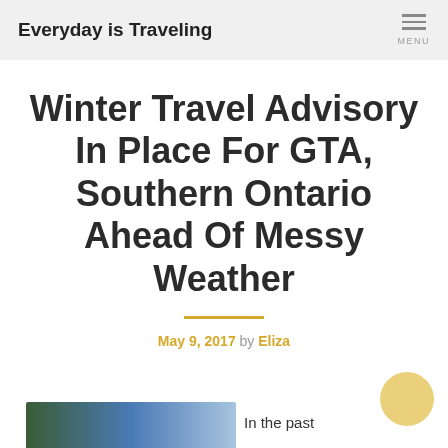Everyday is Traveling
Winter Travel Advisory In Place For GTA, Southern Ontario Ahead Of Messy Weather
May 9, 2017 by Eliza
In the past